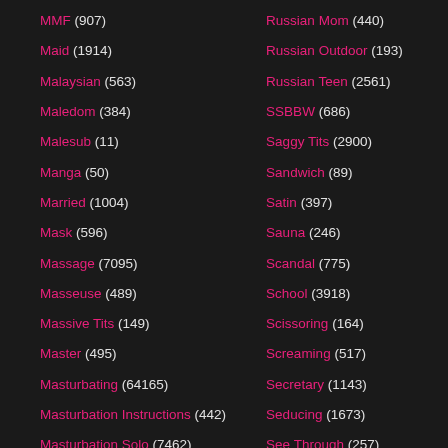MMF (907)
Maid (1914)
Malaysian (563)
Maledom (384)
Malesub (11)
Manga (50)
Married (1004)
Mask (596)
Massage (7095)
Masseuse (489)
Massive Tits (149)
Master (495)
Masturbating (64165)
Masturbation Instructions (442)
Masturbation Solo (7462)
Mature (46604)
Russian Mom (440)
Russian Outdoor (193)
Russian Teen (2561)
SSBBW (686)
Saggy Tits (2900)
Sandwich (89)
Satin (397)
Sauna (246)
Scandal (775)
School (3918)
Scissoring (164)
Screaming (517)
Secretary (1143)
Seducing (1673)
See Through (257)
Self Facial (142)